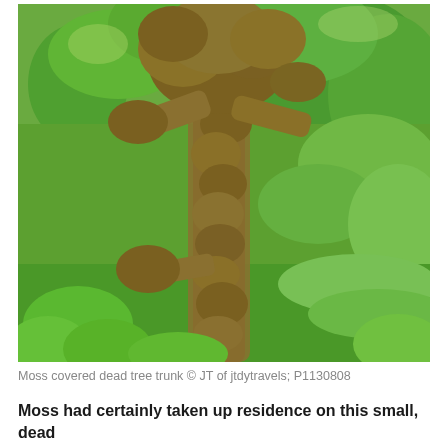[Figure (photo): A moss-covered dead tree trunk standing upright in a lush green forest setting. The trunk and branches are heavily coated with thick brown-green moss. The background shows dense green vegetation, ferns, and leafy plants.]
Moss covered dead tree trunk © JT of jtdytravels; P1130808
Moss had certainly taken up residence on this small, dead